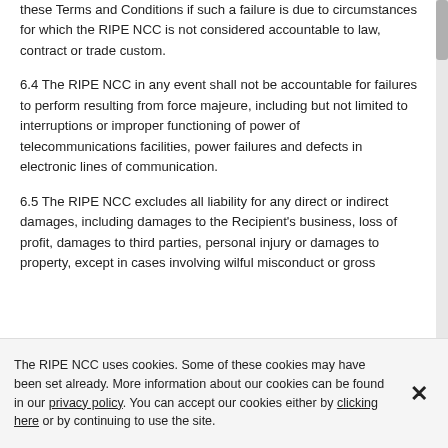these Terms and Conditions if such a failure is due to circumstances for which the RIPE NCC is not considered accountable to law, contract or trade custom.
6.4 The RIPE NCC in any event shall not be accountable for failures to perform resulting from force majeure, including but not limited to interruptions or improper functioning of power of telecommunications facilities, power failures and defects in electronic lines of communication.
6.5 The RIPE NCC excludes all liability for any direct or indirect damages, including damages to the Recipient's business, loss of profit, damages to third parties, personal injury or damages to property, except in cases involving wilful misconduct or gross
The RIPE NCC uses cookies. Some of these cookies may have been set already. More information about our cookies can be found in our privacy policy. You can accept our cookies either by clicking here or by continuing to use the site.